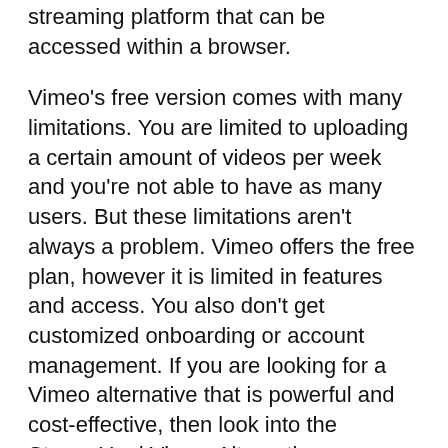streaming platform that can be accessed within a browser.
Vimeo's free version comes with many limitations. You are limited to uploading a certain amount of videos per week and you're not able to have as many users. But these limitations aren't always a problem. Vimeo offers the free plan, however it is limited in features and access. You also don't get customized onboarding or account management. If you are looking for a Vimeo alternative that is powerful and cost-effective, then look into the StreamYard Vimeo Alternative storyxpress.
Vidyard
You may have heard about BombBomb If